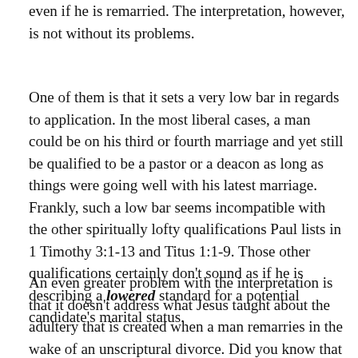even if he is remarried. The interpretation, however, is not without its problems.
One of them is that it sets a very low bar in regards to application. In the most liberal cases, a man could be on his third or fourth marriage and yet still be qualified to be a pastor or a deacon as long as things were going well with his latest marriage. Frankly, such a low bar seems incompatible with the other spiritually lofty qualifications Paul lists in 1 Timothy 3:1-13 and Titus 1:1-9. Those other qualifications certainly don't sound as if he is describing a lowered standard for a potential candidate's marital status.
An even greater problem with the interpretation is that it doesn't address what Jesus taught about the adultery that is created when a man remarries in the wake of an unscriptural divorce. Did you know that the judge...